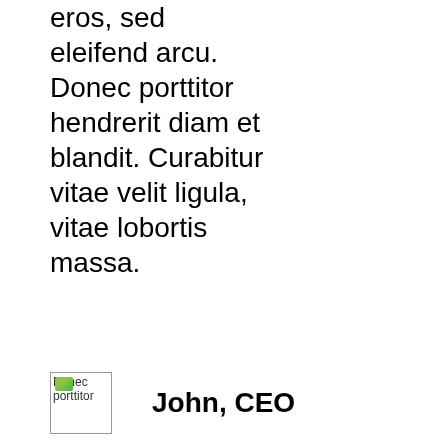eros, sed eleifend arcu. Donec porttitor hendrerit diam et blandit. Curabitur vitae velit ligula, vitae lobortis massa.
[Figure (photo): Small image placeholder labeled 'Donec porttitor']
John, CEO